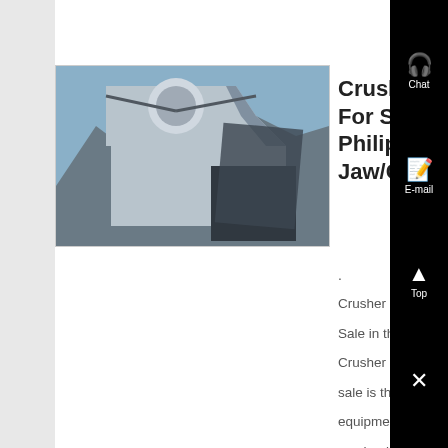[Figure (photo): Photo of a crusher machine showing metal components and rocky background]
Crusher Machine For Sale in Philippines - Jaw/Cone/Im...
·
Crusher Machine
Sale in the Philip...
Crusher machine...
sale is the mech...
equipment used...
crush minerals
Generally, a cru...
machine can cru...
different materia...
such as river pe...
granite, limesto...
basalt, ore, rock...